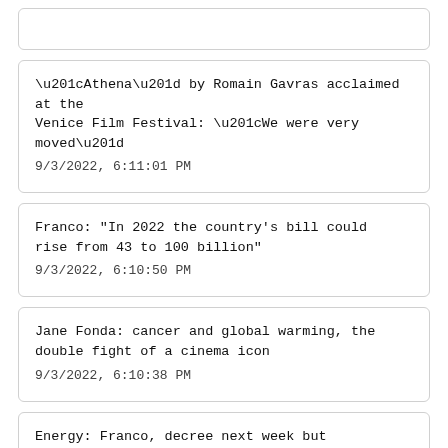“Athena” by Romain Gavras acclaimed at the Venice Film Festival: “We were very moved”
9/3/2022, 6:11:01 PM
Franco: "In 2022 the country's bill could rise from 43 to 100 billion"
9/3/2022, 6:10:50 PM
Jane Fonda: cancer and global warming, the double fight of a cinema icon
9/3/2022, 6:10:38 PM
Energy: Franco, decree next week but budget limits
9/3/2022, 6:05:03 PM